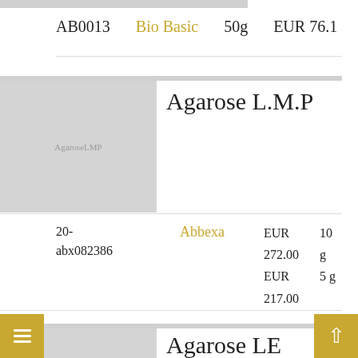AB0013   Bio Basic   50g   EUR 76.1
Agarose L.M.P
[Figure (photo): Placeholder image for Agarose LMP product with text label 'AgaroseLMP']
20-abx082386   Abbexa   EUR 272.00   10 g   EUR 217.00   5 g
Agarose LE
[Figure (photo): Placeholder image for Agarose LE product with text label 'Agarose LE']